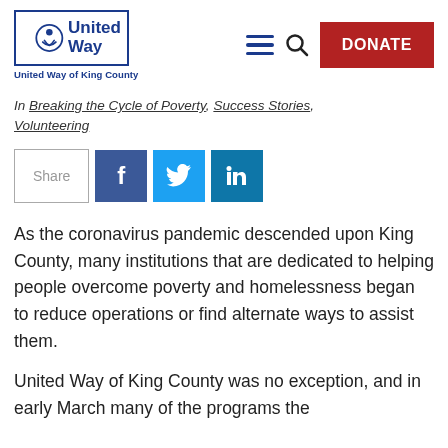[Figure (logo): United Way of King County logo with circular emblem and blue border, with text 'United Way of King County' below]
In Breaking the Cycle of Poverty, Success Stories, Volunteering
[Figure (infographic): Social share buttons: Share (outlined), Facebook (blue), Twitter (light blue), LinkedIn (dark blue)]
As the coronavirus pandemic descended upon King County, many institutions that are dedicated to helping people overcome poverty and homelessness began to reduce operations or find alternate ways to assist them.
United Way of King County was no exception, and in early March many of the programs the